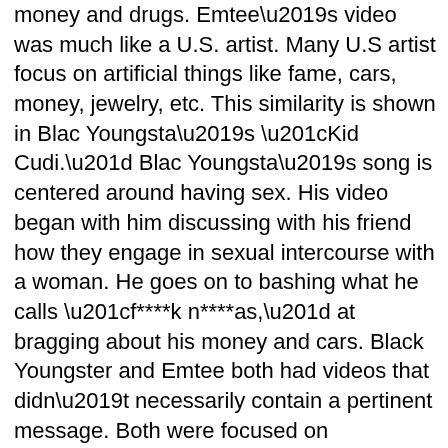money and drugs. Emtee’s video was much like a U.S. artist. Many U.S artist focus on artificial things like fame, cars, money, jewelry, etc. This similarity is shown in Blac Youngsta’s “Kid Cudi.” Blac Youngsta’s song is centered around having sex. His video began with him discussing with his friend how they engage in sexual intercourse with a woman. He goes on to bashing what he calls “f****k n****as,” at bragging about his money and cars. Black Youngster and Emtee both had videos that didn’t necessarily contain a pertinent message. Both were focused on “stunting” on others and glorifying themselves. Neither one of them focused on youth influence, politics, or activism. The only difference between the two is that Black Youngsta’s video was much more graphic. It seemed like almost every other word was a curse word. But,